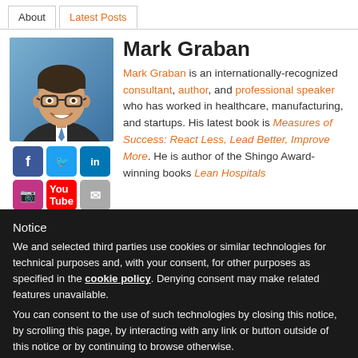About | Latest Posts
Mark Graban
Mark Graban is an internationally-recognized consultant, author, and professional speaker who has worked in healthcare, manufacturing, and startups. His latest book is Measures of Success: React Less, Lead Better, Improve More. He is author of the Shingo Award-winning books Lean Hospitals
Notice
We and selected third parties use cookies or similar technologies for technical purposes and, with your consent, for other purposes as specified in the cookie policy. Denying consent may make related features unavailable.
You can consent to the use of such technologies by closing this notice, by scrolling this page, by interacting with any link or button outside of this notice or by continuing to browse otherwise.